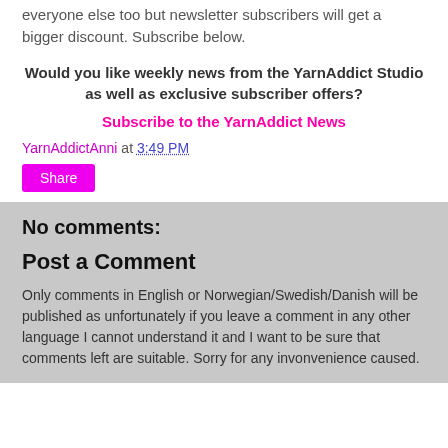everyone else too but newsletter subscribers will get a bigger discount. Subscribe below.
Would you like weekly news from the YarnAddict Studio as well as exclusive subscriber offers?
Subscribe to the YarnAddict News
YarnAddictAnni at 3:49 PM
Share
No comments:
Post a Comment
Only comments in English or Norwegian/Swedish/Danish will be published as unfortunately if you leave a comment in any other language I cannot understand it and I want to be sure that comments left are suitable. Sorry for any invonvenience caused.